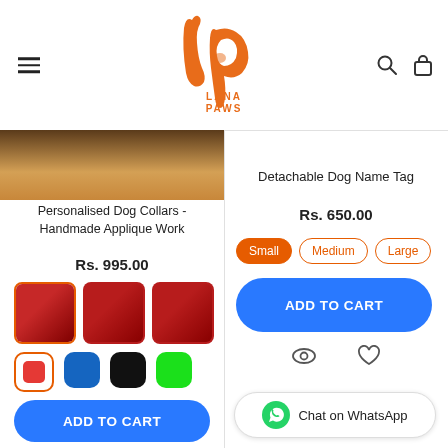[Figure (logo): Lana Paws logo — stylized orange 'lp' script with a small dog icon and text LANA PAWS below]
Personalised Dog Collars - Handmade Applique Work
Rs. 995.00
[Figure (photo): Three thumbnail images of a red dog collar]
[Figure (other): Color swatches: red (selected), blue, black, green]
ADD TO CART
Detachable Dog Name Tag
Rs. 650.00
Small  Medium  Large
ADD TO CART
Chat on WhatsApp